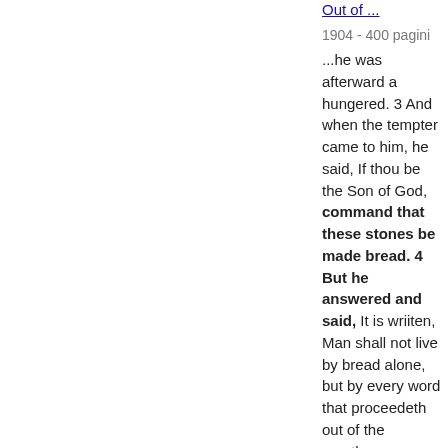Out of ...
1904 - 400 pagini
...he was afterward a hungered. 3 And when the tempter came to him, he said, If thou be the Son of God, command that these stones be made bread. 4 But he answered and said, It is wriiten, Man shall not live by bread alone, but by every word that proceedeth out of the mouth...
Vizualizare completă - Despre această carte